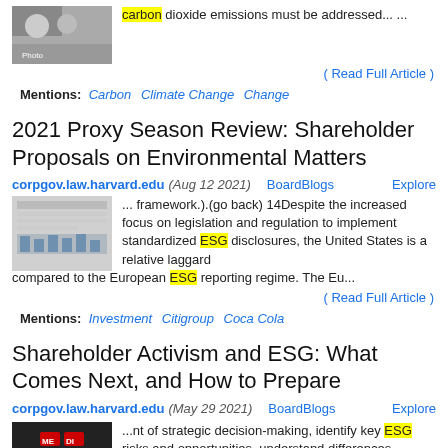[Figure (photo): Photo of people at protest/rally, partially visible at top left]
carbon dioxide emissions must be addressed... ...
( Read Full Article )
Mentions: Carbon  Climate Change  Change
2021 Proxy Season Review: Shareholder Proposals on Environmental Matters
corpgov.law.harvard.edu (Aug 12 2021)   BoardBlogs   Explore
[Figure (screenshot): Thumbnail image of a chart/table document]
... framework.).(go back) 14Despite the increased focus on legislation and regulation to implement standardized ESG disclosures, the United States is a relative laggard compared to the European ESG reporting regime. The Eu...
( Read Full Article )
Mentions: Investment  Citigroup  Coca Cola
Shareholder Activism and ESG: What Comes Next, and How to Prepare
corpgov.law.harvard.edu (May 29 2021)   BoardBlogs   Explore
[Figure (photo): Dark thumbnail image with red/white text visible]
...nt of strategic decision-making, identify key ESG risks and opportunities, understand differences between the